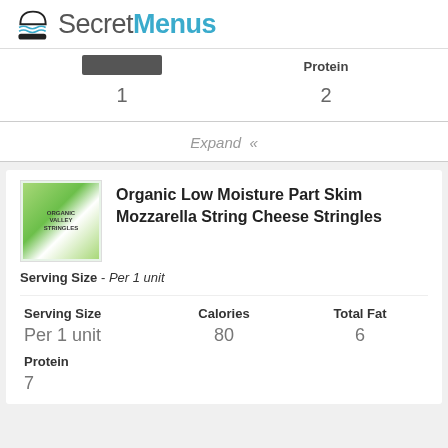SecretMenus
|  | Protein |
| --- | --- |
| 1 | 2 |
Expand «
Organic Low Moisture Part Skim Mozzarella String Cheese Stringles
Serving Size - Per 1 unit
| Serving Size | Calories | Total Fat |
| --- | --- | --- |
| Per 1 unit | 80 | 6 |
| Protein |
| --- |
| 7 |